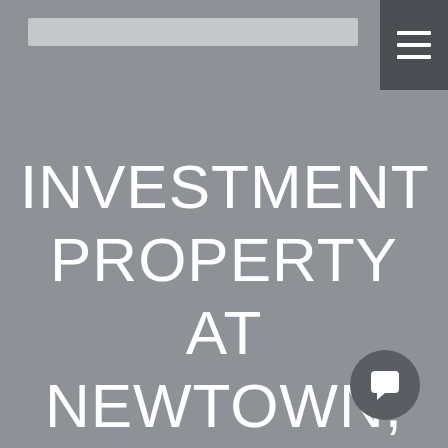[Figure (other): Search bar placeholder at top of page]
[Figure (other): Hamburger menu button in top right corner with three white horizontal lines on dark gray background]
INVESTMENT PROPERTY AT NEWTOWN, NSW 2042
[Figure (other): Quote/chat icon button in bottom right corner, circular dark gray button with white speech bubble icon]